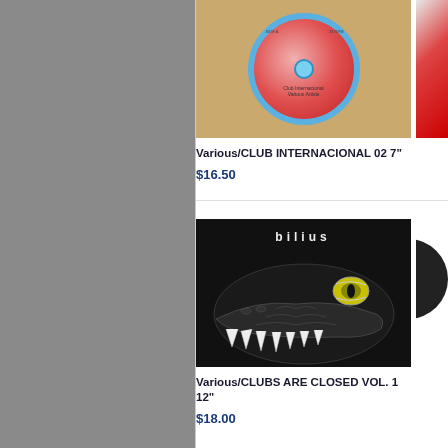[Figure (photo): Product listing page showing vinyl records and CDs for sale. Left side is gray sidebar. Right side shows product grid with album covers.]
Various/CLUB INTERNACIONAL 02 7"
$16.50
Various/CLUBS ARE CLOSED VOL. 1 12"
$18.00
Vario
$22.5
Vario
$13.5